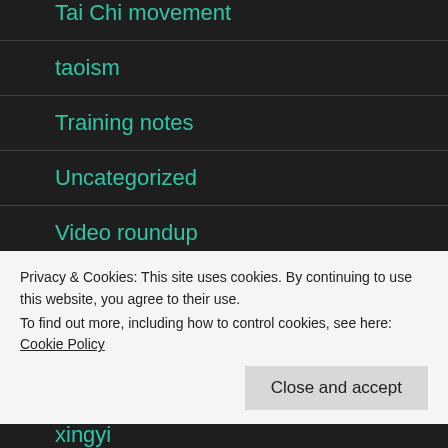Tai Chi movement
taoism
Training notes
Uncategorized
Video roundup
weapons
Privacy & Cookies: This site uses cookies. By continuing to use this website, you agree to their use.
To find out more, including how to control cookies, see here: Cookie Policy
xingyi